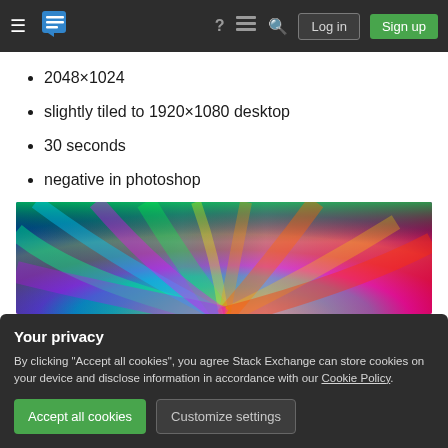Stack Exchange navigation bar with hamburger menu, logo, help, chat, search icons, Log in and Sign up buttons
2048×1024
slightly tiled to 1920×1080 desktop
30 seconds
negative in photoshop
[Figure (photo): Colorful abstract psychedelic burst image with rainbow swirling feather-like forms radiating from center, on white background]
Your privacy
By clicking "Accept all cookies", you agree Stack Exchange can store cookies on your device and disclose information in accordance with our Cookie Policy.
Accept all cookies
Customize settings
8 seeds